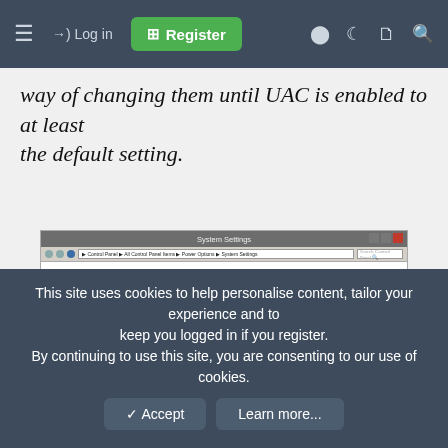Navigation bar with Log in and Register buttons
way of changing them until UAC is enabled to at least the default setting.
[Figure (screenshot): Windows System Settings dialog showing 'Define power buttons and turn on password protection' with power button options (Sleep dropdown) and a red arrow pointing to 'Change settings that are currently unavailable' link.]
This site uses cookies to help personalise content, tailor your experience and to keep you logged in if you register. By continuing to use this site, you are consenting to our use of cookies.
Accept   Learn more...